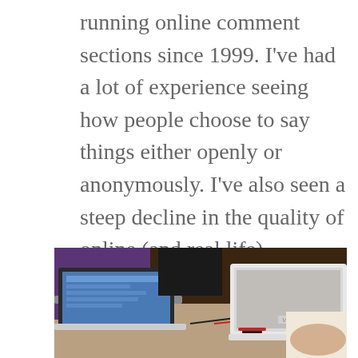running online comment sections since 1999. I've had a lot of experience seeing how people choose to say things either openly or anonymously. I've also seen a steep decline in the quality of online (and real life) discourse.
[Figure (photo): Two people sitting at a table with laptops open — a MacBook on the left showing a webpage, and a white VAIO laptop on the right. People in background visible.]